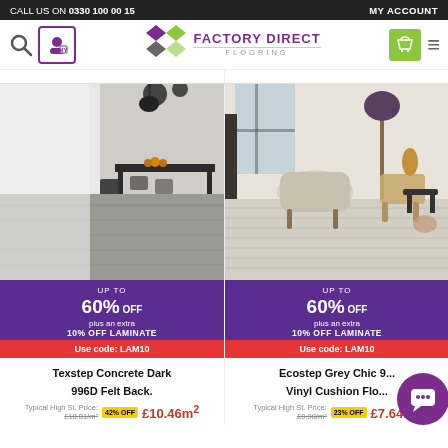CALL US ON 0330 100 00 15 | MY ACCOUNT
[Figure (logo): Factory Direct Flooring logo with coloured diamond shapes]
[Figure (photo): Room with dark concrete flooring, dining table and chairs]
UP TO 60% OFF plus an extra 10% OFF LAMINATE Use code: LAM10
Texstep Concrete Dark 996D Felt Back.
Typical High St. Price: £18.01/m² 42% OFF £10.46m²
[Figure (photo): Light wood vinyl flooring room with lamp and chairs]
UP TO 60% OFF plus an extra 10% OFF LAMINATE Use code: LAM10
Ecostep Grey Chic 9... Vinyl Cushion Flo...
Typical High St. Price: £9.98/m² 23% OFF £7.64m²